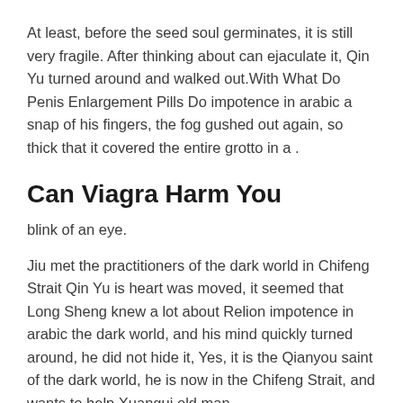At least, before the seed soul germinates, it is still very fragile. After thinking about can ejaculate it, Qin Yu turned around and walked out.With What Do Penis Enlargement Pills Do impotence in arabic a snap of his fingers, the fog gushed out again, so thick that it covered the entire grotto in a .
Can Viagra Harm You
blink of an eye.
Jiu met the practitioners of the dark world in Chifeng Strait Qin Yu is heart was moved, it seemed that Long Sheng knew a lot about Relion impotence in arabic the dark world, and his mind quickly turned around, he did not hide it, Yes, it is the Qianyou saint of the dark world, he is now in the Chifeng Strait, and wants to help Xuangui old man.
But think about it, the previous performance of the garden